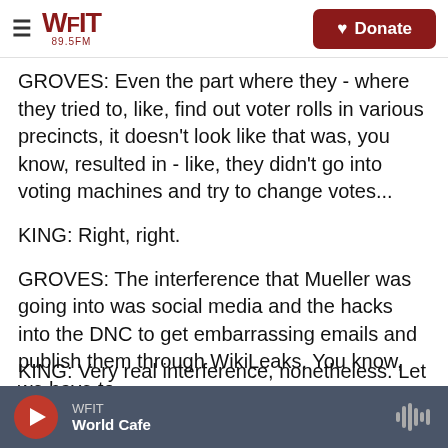WFIT 89.5FM | Donate
GROVES: Even the part where they - where they tried to, like, find out voter rolls in various precincts, it doesn't look like that was, you know, resulted in - like, they didn't go into voting machines and try to change votes...
KING: Right, right.
GROVES: The interference that Mueller was going into was social media and the hacks into the DNC to get embarrassing emails and publish them through WikiLeaks. You know, we have to...
KING: Very real interference, nonetheless. Let me
WFIT | World Cafe